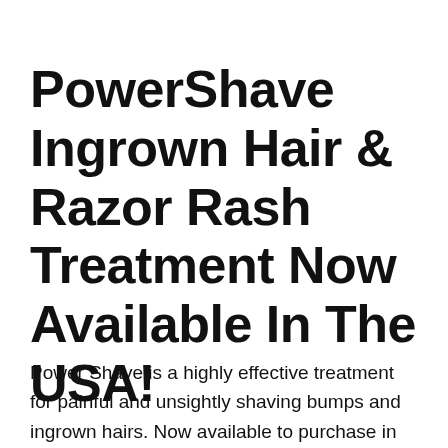PowerShave Ingrown Hair & Razor Rash Treatment Now Available In The USA!
Power Shave is a highly effective treatment for painful and unsightly shaving bumps and ingrown hairs. Now available to purchase in the USA!